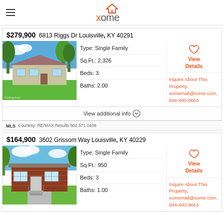xome
$279,900  6813 Riggs Dr Louisville, KY 40291
[Figure (photo): Single family home exterior with green lawn and trees]
Type: Single Family
Sq.Ft.: 2,326
Beds: 3
Baths: 2.00
View Details
Inquire About This Property, xomemail@xome.com, 844-400-9663
View additional info
Courtesy: RE/MAX Results 502 571 0408
$164,900  3602 Grissom Way Louisville, KY 40229
[Figure (photo): Brick single family home exterior with steps]
Type: Single Family
Sq.Ft.: 950
Beds: 3
Baths: 1.00
View Details
Inquire About This Property, xomemail@xome.com, 844-400-9663